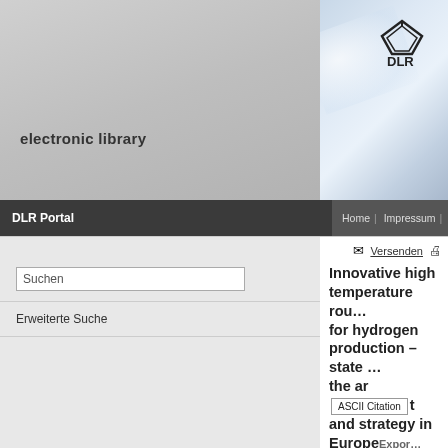[Figure (screenshot): DLR electronic library website header with logo and navigation]
electronic library
DLR Portal | Home | Impressum | Datenschutz | Kontakt | English
Suchen
Erweiterte Suche
Versenden
Innovative high temperature routes for hydrogen production – state of the art and strategy in Europe
Le Naour, Francois und Sattler, Christian und Tarquini, Pie... Ewan, Bruce C. und Buenaventura, Arturo und Romero, M... Wilkening, Heinz und Stein, Wesley (2005) Innovative high temperature routes for hydrogen production – state of the ... strategy in Europe. In: 2nd European Hydrogen Energy Co... Seiten 647-649. IDAE. 2nd EUROPEAN HYDROGEN EN... CONFERENCE, 2005-11-22 - 2005-11-25, Zaragossa (Sp...
PDF - Nur DLR-intern zugänglich 106kB